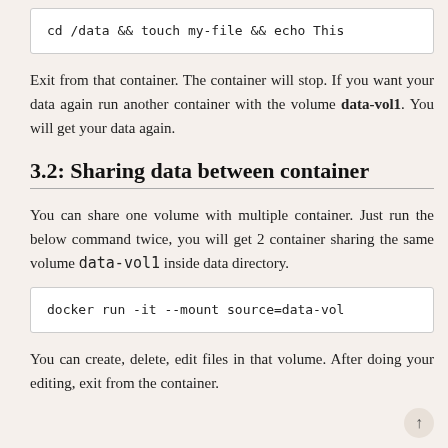cd /data && touch my-file && echo This
Exit from that container. The container will stop. If you want your data again run another container with the volume data-vol1. You will get your data again.
3.2: Sharing data between container
You can share one volume with multiple container. Just run the below command twice, you will get 2 container sharing the same volume data-vol1 inside data directory.
docker run -it --mount source=data-vol
You can create, delete, edit files in that volume. After doing your editing, exit from the container.